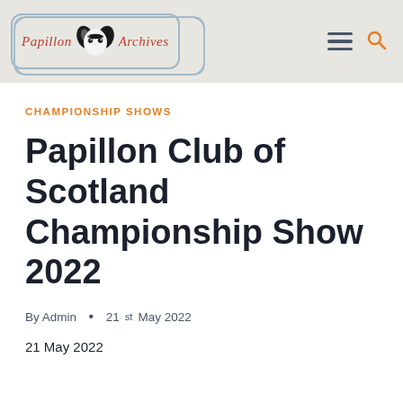Papillon Archives
CHAMPIONSHIP SHOWS
Papillon Club of Scotland Championship Show 2022
By Admin • 21st May 2022
21 May 2022